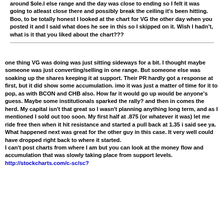around $ole.l else range and the day was close to ending so I felt it was going to atleast close there and possibly break the ceiling it's been hitting.
Boo, to be totally honest I looked at the chart for VG the other day when you posted it and I said what does he see in this so I skipped on it. Wish I hadn't, what is it that you liked about the chart???
one thing VG was doing was just sitting sideways for a bit. I thought maybe someone was just converting/selling in one range. But someone else was soaking up the shares keeping it at support. Their PR hardly got a response at first, but it did show some accumulation. imo it was just a matter of time for it to pop, as with BCON and CHB also. How far it would go up would be anyone's guess. Maybe some institutionals sparked the rally? and then in comes the herd. My capital isn't that great so I wasn't planning anything long term, and as I mentioned I sold out too soon. My first half at .875 (or whatever it was) let me ride free then when it hit resistance and started a pull back at 1.35 i said see ya. What happened next was great for the other guy in this case. It very well could have dropped right back to where it started.
I can't post charts from where I am but you can look at the money flow and accumulation that was slowly taking place from support levels.
http://stockcharts.com/c-sc/sc?